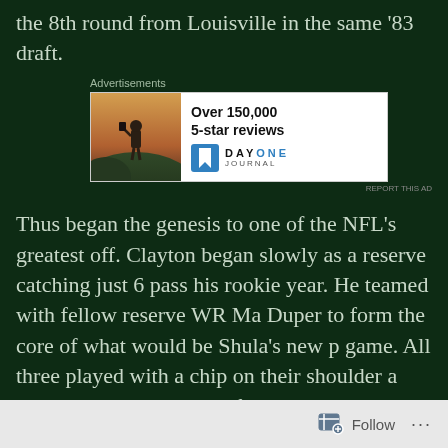the 8th round from Louisville in the same '83 draft.
[Figure (other): Advertisement banner for Day One Journal app showing a person photographing a landscape, with text 'Over 150,000 5-star reviews' and Day One Journal logo]
Thus began the genesis to one of the NFL's greatest off. Clayton began slowly as a reserve catching just 6 pass his rookie year. He teamed with fellow reserve WR Ma Duper to form the core of what would be Shula's new p game. All three played with a chip on their shoulder a long as they assaulted defenses on a week to week ba. While Marino shattered the all time record for touchdo thrown in a season, he was within 58 yards of Dan Fo yardage record going into the finale vs. Dallas.
S...